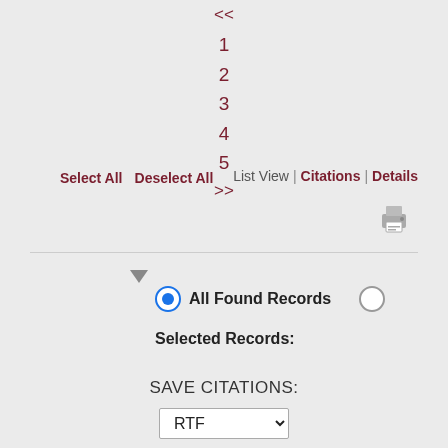<<
1
2
3
4
5
>>
Select All   Deselect All
List View | Citations | Details
[Figure (other): Print icon]
▼
All Found Records (radio selected)   (radio empty)
Selected Records:
SAVE CITATIONS:
RTF (dropdown)
Cite (button)